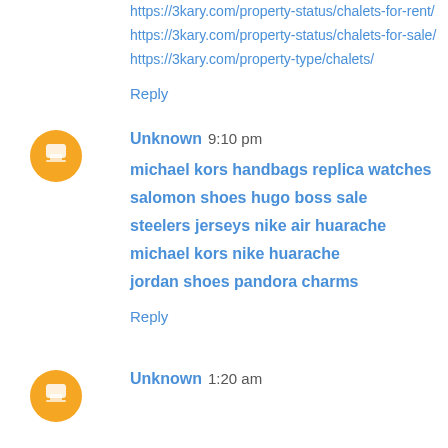https://3kary.com/property-status/chalets-for-rent/
https://3kary.com/property-status/chalets-for-sale/
https://3kary.com/property-type/chalets/
Reply
Unknown  9:10 pm
michael kors handbags
replica watches
salomon shoes
hugo boss sale
steelers jerseys
nike air huarache
michael kors
nike huarache
jordan shoes
pandora charms
Reply
Unknown  1:20 am